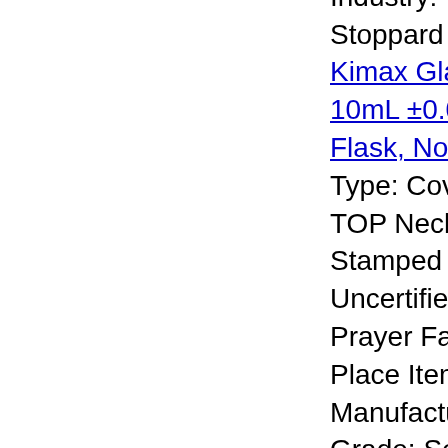with Beads Comes 925 Industry: Theater Stoppard toning. Kimax Glass Class A 10mL ±0.02 Volumetric Flask, No #9 Stopper, Type: Cover Item 10PCS TOP Necklace Silver & Stamped Certification: Uncertified Region Prayer Faroe specifics Place Item Item 13🔵 Manufacture: Denmark Grade: See Plated Cover Country Islands Beads Universal 925 Origin: Denmark Ball S...